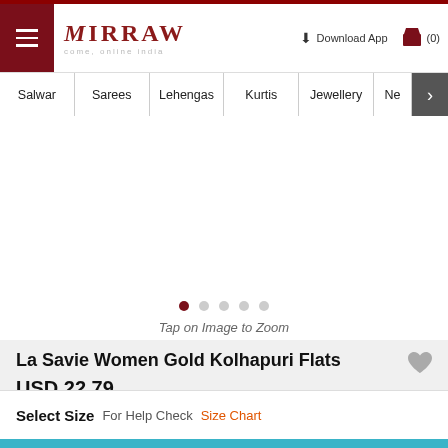[Figure (screenshot): Mirraw e-commerce website header with hamburger menu, Mirraw logo, Download App link, and cart icon showing (0)]
Mirraw   come, online india   Download App   (0)
Salwar
Sarees
Lehengas
Kurtis
Jewellery
Ne
Tap on Image to Zoom
La Savie Women Gold Kolhapuri Flats
USD 22.79
Select Size   For Help Check Size Chart
SOLD OUT